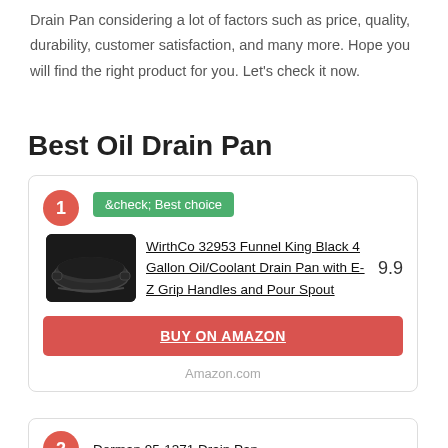Drain Pan considering a lot of factors such as price, quality, durability, customer satisfaction, and many more. Hope you will find the right product for you. Let's check it now.
Best Oil Drain Pan
1 ✓ Best choice
WirthCo 32953 Funnel King Black 4 Gallon Oil/Coolant Drain Pan with E-Z Grip Handles and Pour Spout  9.9
BUY ON AMAZON
Amazon.com
Dorman 95-1371 Drain Pan –